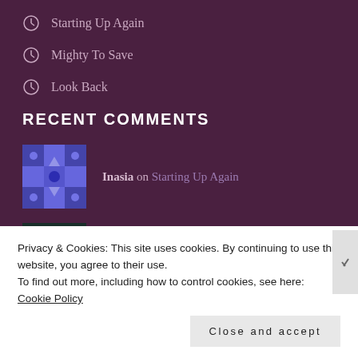Starting Up Again
Mighty To Save
Look Back
RECENT COMMENTS
Inasia on Starting Up Again
iveymediaIvey Media,.... on Why I Blog?
taliealexis on Do Not Give up on Your Dreams!...
Billy Lilite on Do Not Give up on Your Dreams!
Privacy & Cookies: This site uses cookies. By continuing to use this website, you agree to their use.
To find out more, including how to control cookies, see here: Cookie Policy
Close and accept